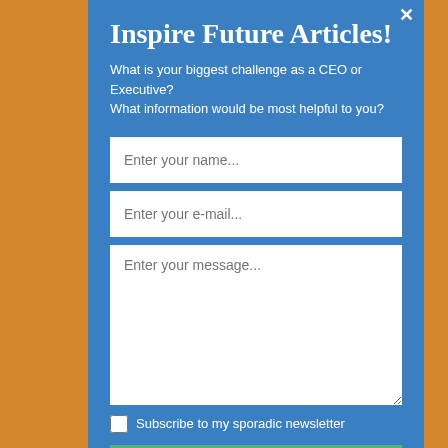Inspire Future Articles!
What is your biggest challenge as a CEO or Executive? What information would be most helpful to you?
Enter your name...
Enter your e-mail...
Enter your message...
Subscribe to my sporadic newsletter
Ask Today